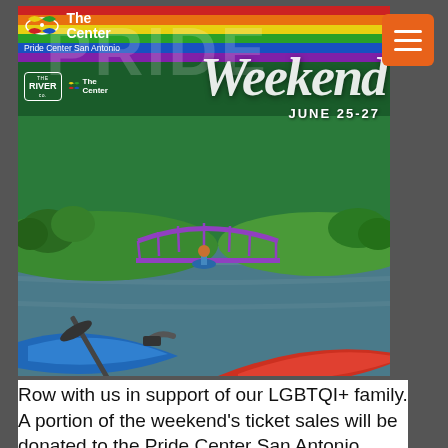[Figure (photo): Promotional image for Pride Weekend June 25-27 at The Center, Pride Center San Antonio. Shows kayakers on a river with a rainbow-colored bridge and rainbow stripe header. Logos for The River Co. and The Center are visible. Large script 'Weekend' text overlaid on rainbow background.]
Row with us in support of our LGBTQI+ family. A portion of the weekend's ticket sales will be donated to the Pride Center San Antonio. Paddling all weekend from Friday, June 25 – 26 from 8am-6pm